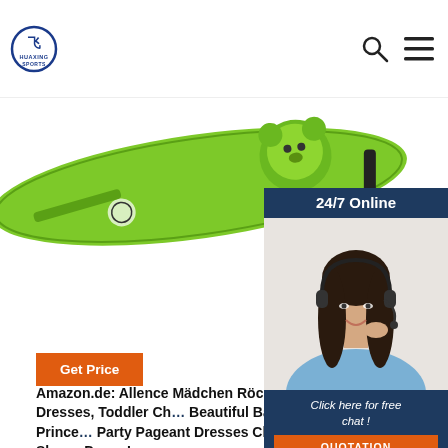[Figure (logo): HUAXING SPORTS circular logo with blue border]
[Figure (photo): Green children's product (sleeping bag or similar) with bear graphic, on white background, partially cropped]
[Figure (infographic): 24/7 Online chat widget with dark navy background, woman with headset photo, 'Click here for free chat!' text and orange QUOTATION button]
Amazon.de: Allence Mädchen Röcke: Allence Children's Dresses, Toddler Children Beautiful Baby Girl Lace Flower Prince Party Pageant Dresses Clothing 2T-6T Kids Sleeve Dress Lace ...
[Figure (other): Orange 'Get Price' button]
[Figure (other): Orange TOP arrow icon]